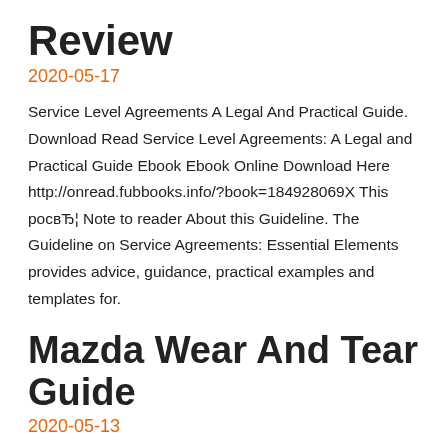Review
2020-05-17
Service Level Agreements A Legal And Practical Guide. Download Read Service Level Agreements: A Legal and Practical Guide Ebook Ebook Online Download Here http://onread.fubbooks.info/?book=184928069X This росвЂ¦ Note to reader About this Guideline. The Guideline on Service Agreements: Essential Elements provides advice, guidance, practical examples and templates for.
Mazda Wear And Tear Guide
2020-05-13
Returning a lease at Markham Mazda Toronto Mazda 3. Mazda. Mercedes Benz. Mini. Mitsubishi. Nissan. What is fair wear and tear? For full information check out our online fair